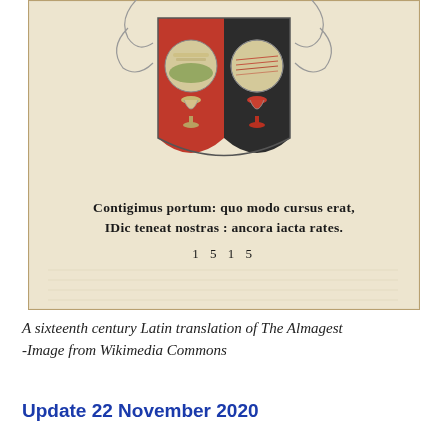[Figure (photo): A scanned page from a sixteenth century Latin translation of The Almagest, showing a heraldic coat of arms with red and dark background, two circular medallions containing landscape scenes, two chalice/goblet decorations, ornate scrollwork at top, and printed Latin text reading 'Contigimus portum: quo modo cursus erat, IDic teneat nostras: ancora iacta rates.' with the date '1515' below.]
A sixteenth century Latin translation of The Almagest -Image from Wikimedia Commons
Update 22 November 2020